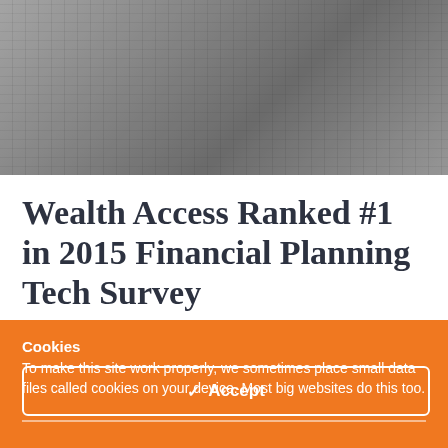[Figure (photo): Grayscale photo of a person typing on a laptop keyboard, viewed from above at an angle]
Wealth Access Ranked #1 in 2015 Financial Planning Tech Survey
Cookies
To make this site work properly, we sometimes place small data files called cookies on your device. Most big websites do this too.
✓ Accept